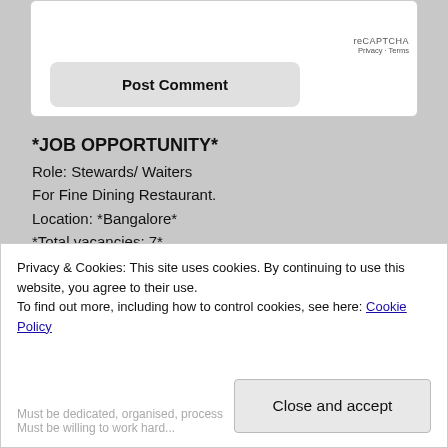[Figure (screenshot): reCAPTCHA widget box in top right of white card, showing 'reCAPTCHA' label and 'Privacy · Terms' links]
Post Comment
*JOB OPPORTUNITY*
Role: Stewards/ Waiters
For Fine Dining Restaurant.
Location: *Bangalore*
*Total vacancies: 7*
Experience required: Minimum 1 year.
Qualification: No bar.
Criteria:
Privacy & Cookies: This site uses cookies. By continuing to use this website, you agree to their use.
To find out more, including how to control cookies, see here: Cookie Policy
Close and accept
Must be dedicated, organised, process and result oriented.
Must be willing to work hard...